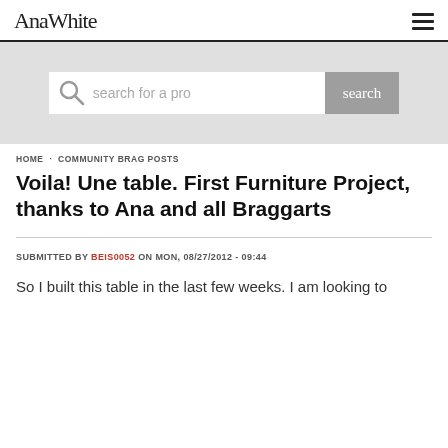AnaWhite [logo] [hamburger menu]
[Figure (screenshot): Search bar with magnifying glass icon, placeholder text 'search for a pr...' and a gray 'search' button]
HOME · COMMUNITY BRAG POSTS
Voila! Une table. First Furniture Project, thanks to Ana and all Braggarts
SUBMITTED BY BEIS0052 ON MON, 08/27/2012 - 09:44
So I built this table in the last few weeks. I am looking to